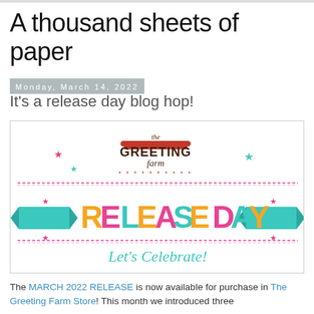A thousand sheets of paper
Monday, March 14, 2022
It's a release day blog hop!
[Figure (illustration): The Greeting Farm Release Day promotional banner. Features the Greeting Farm logo at top, decorative stars in teal and pink, the text 'RELEASE DAY' in large multicolored letters (orange, pink/magenta, teal), two teal ribbon banners on either side, a pink dashed border line at top and bottom, and cursive text 'Let's Celebrate!' in teal/mint at the bottom.]
The MARCH 2022 RELEASE is now available for purchase in The Greeting Farm Store! This month we introduced three